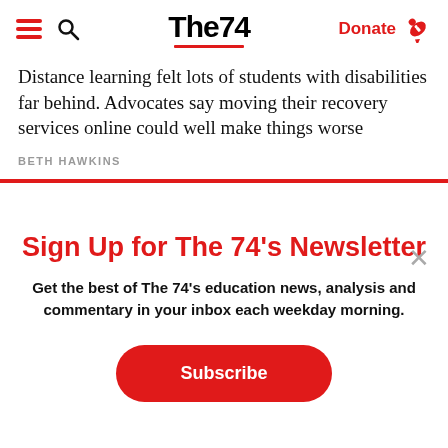The74 — Donate
Distance learning felt lots of students with disabilities far behind. Advocates say moving their recovery services online could well make things worse
BETH HAWKINS
Sign Up for The 74's Newsletter
Get the best of The 74's education news, analysis and commentary in your inbox each weekday morning.
Subscribe